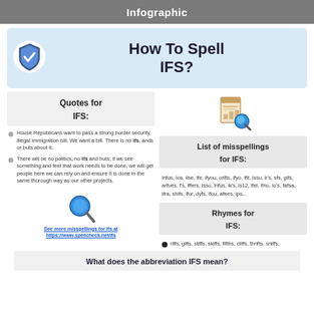Infographic
How To Spell IFS?
Quotes for IFS:
House Republicans want to pass a strong border security, illegal immigration bill. We want a bill. There is no ifs, ands or buts about it.
There will be no politics, no ifs and buts; if we see something and feel that work needs to be done, we will get people here we can rely on and ensure it is done in the same thorough way as our other projects.
[Figure (illustration): Document with bar chart and magnifying glass icon]
List of misspellings for IFS:
infos, ios, ilse, ife, ifyou, orifis, ifyo, ifit, issu, ir's, sfs, gifs, arfues, f's, iffers, isso, infus, ik's, is12, ifel, ifno, io's, fafsa, ifra, shifs, ifor, dyfs, ifou, afees, ips...
Rhymes for IFS:
riffs, gifts, stiffs, skiffs, fifths, cliffs, thrifts, sniffs;
[Figure (illustration): Blue magnifying glass icon]
See more misspellings for Ifs at https://www.spellcheck.net/ifs
What does the abbreviation IFS mean?